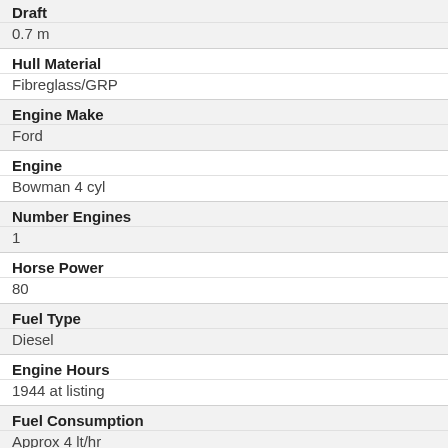Draft
0.7 m
Hull Material
Fibreglass/GRP
Engine Make
Ford
Engine
Bowman 4 cyl
Number Engines
1
Horse Power
80
Fuel Type
Diesel
Engine Hours
1944 at listing
Fuel Consumption
Approx 4 lt/hr